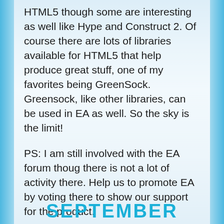HTML5 though some are interesting as well like Hype and Construct 2. Of course there are lots of libraries available for HTML5 that help produce great stuff, one of my favorites being GreenSock. Greensock, like other libraries, can be used in EA as well. So the sky is the limit!
PS: I am still involved with the EA forum thoug there is not a lot of activity there. Help us to promote EA by voting there to show our support for the product.
SEPTEMBER